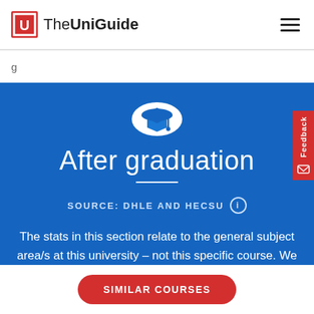The UniGuide
g
After graduation
SOURCE: DHLE AND HECSU
The stats in this section relate to the general subject area/s at this university – not this specific course. We
SIMILAR COURSES